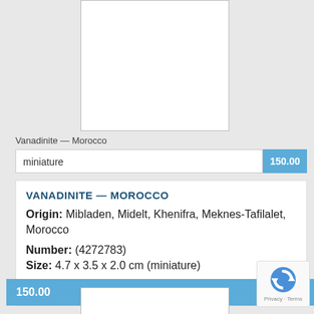[Figure (photo): White empty photo placeholder box for mineral specimen image]
Vanadinite — Morocco
miniature   150.00
VANADINITE — MOROCCO
Origin: Mibladen, Midelt, Khenifra, Meknes-Tafilalet, Morocco
Number: (4272783)
Size: 4.7 x 3.5 x 2.0 cm (miniature)
150.00
[Figure (photo): White empty photo placeholder box at bottom of page]